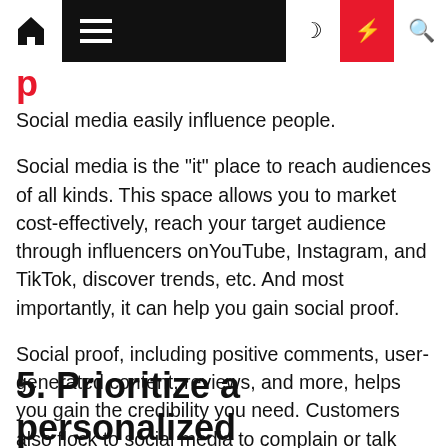Navigation bar with home, menu, moon, bolt, and search icons
Social media easily influence people.
Social media is the "it" place to reach audiences of all kinds. This space allows you to market cost-effectively, reach your target audience through influencers onYouTube, Instagram, and TikTok, discover trends, etc. And most importantly, it can help you gain social proof.
Social proof, including positive comments, user-generated content, reviews, and more, helps you gain the credibility you need. Customers also flock to social media to complain or talk about a brand they love. This is the ultimate place to garner social proof to gain trust effectively and increase sales.
5. Prioritize a personalized